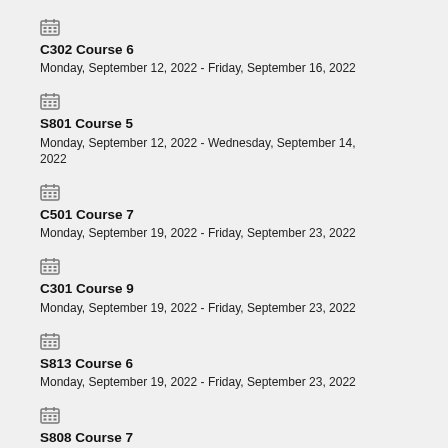C302 Course 6
Monday, September 12, 2022 - Friday, September 16, 2022
S801 Course 5
Monday, September 12, 2022 - Wednesday, September 14, 2022
C501 Course 7
Monday, September 19, 2022 - Friday, September 23, 2022
C301 Course 9
Monday, September 19, 2022 - Friday, September 23, 2022
S813 Course 6
Monday, September 19, 2022 - Friday, September 23, 2022
S808 Course 7
Monday, September 26, 2022 - Wednesday, September 28, 2022